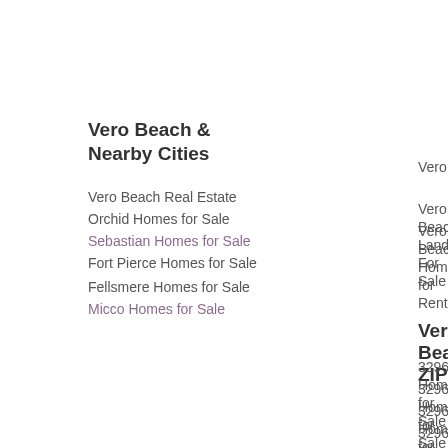Vero Beach & Nearby Cities
Vero Beach Real Estate
Orchid Homes for Sale
Sebastian Homes for Sale
Fort Pierce Homes for Sale
Fellsmere Homes for Sale
Micco Homes for Sale
Vero Beach Commercial for Sale
Vero Beach Land For Sale
Vero Beach Homes for Rent
Vero Beach ZIPs
32960 Homes for Sale
32961 Homes for Sale
32962 Homes for Sale
32963 Homes for Sale
32964 Homes for Sale
32965 Homes for Sale
32966 Homes for Sale
HOME
AMERICAN HOME SHIELD
PROPERTY SEARCH